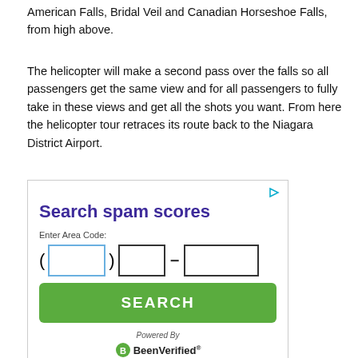American Falls, Bridal Veil and Canadian Horseshoe Falls, from high above.
The helicopter will make a second pass over the falls so all passengers get the same view and for all passengers to fully take in these views and get all the shots you want. From here the helicopter tour retraces its route back to the Niagara District Airport.
[Figure (screenshot): Advertisement widget for 'Search spam scores' by BeenVerified. Contains a phone number input form with area code field, exchange field, and number field, plus a green SEARCH button and BeenVerified logo at the bottom.]